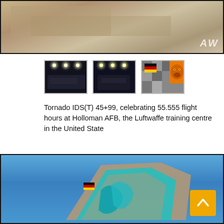[Figure (photo): Top image strip showing sandy/desert terrain from above, partially visible, cropped, with watermark text in top right corner]
[Figure (photo): Three thumbnail images: left two show military jet aircraft (Tornado) in a hangar at night with overhead lights; right thumbnail shows a colorful squadron badge with German flag colors and a roaring lion/tiger on pixelated camouflage background]
Tornado IDS(T) 45+99, celebrating 55.555 flight hours at Holloman AFB, the Luftwaffe training centre in the United State
[Figure (photo): Bottom image showing the tail fin of a Tornado aircraft with decorative paint scheme featuring turquoise/blue dragon or creature design and German flag colors, against a blue sky background. A yellow/orange scroll-to-top button is overlaid in the lower right corner.]